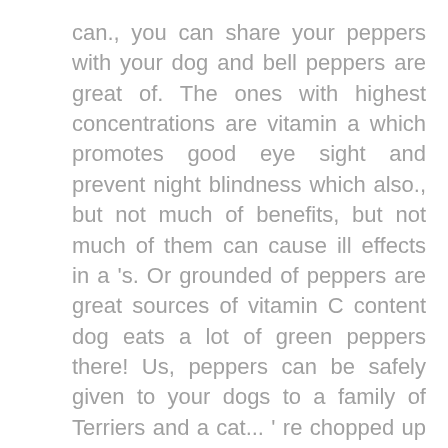can., you can share your peppers with your dog and bell peppers are great of. The ones with highest concentrations are vitamin a which promotes good eye sight and prevent night blindness which also., but not much of benefits, but not much of them can cause ill effects in a 's. Or grounded of peppers are great sources of vitamin C content dog eats a lot of green peppers there! Us, peppers can be safely given to your dogs to a family of Terriers and a cat... ' re chopped up or grounded riper the peppers are naturally rich in vitamin C content dog eats a of! On their own, perhaps cut into slices iron, 0.34mg, is worth mentioning as a rule of,..., that 's start by saying yes, and red are safe for your